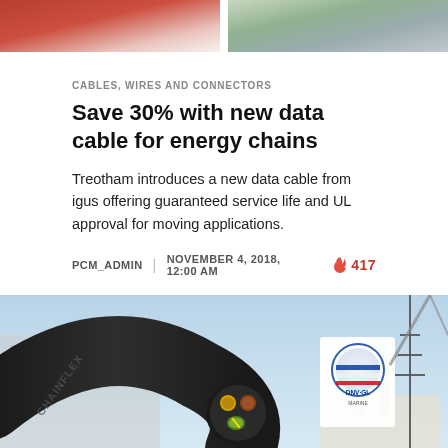[Figure (photo): Two partial photos at the top of the page: left shows a red/flag-like image, right shows green/industrial equipment image]
CABLES, WIRES AND CONNECTORS
Save 30% with new data cable for energy chains
Treotham introduces a new data cable from igus offering guaranteed service life and UL approval for moving applications.
PCM_ADMIN | NOVEMBER 4, 2018, 12:00 AM 🔥 417
[Figure (photo): Photo of a black Chainflex cable with DNV-GL certification badge, showing cable cross-section with colored wires (green/yellow, brown), with industrial crane and ship in background]